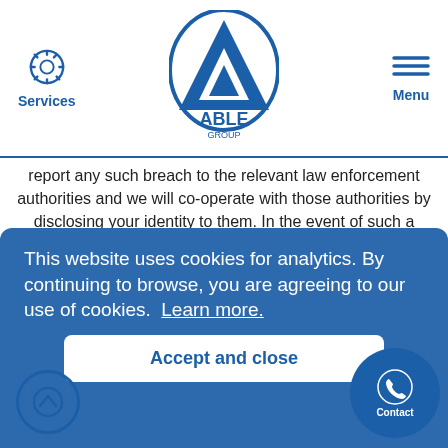Services | ABLE GROUP | Menu
report any such breach to the relevant law enforcement authorities and we will co-operate with those authorities by disclosing your identity to them. In the event of such a breach, your right to use our site will cease immediately.
We will not be liable for any loss or damage caused by a distributed denial-of-service attack, viruses or other technologically harmful material that may infect your computer equipment, computer programs, data or other proprietary material due to your use of our site or to your downloading of any material posted on it, or on any website linked to it.
Links From Our Site
Where our site contains links to other sites and resources provided by third parties, these links are provided for your information only. We have no control over the contents of
This website uses cookies for analytics. By continuing to browse, you are agreeing to our use of cookies.  Learn more.
Accept and close